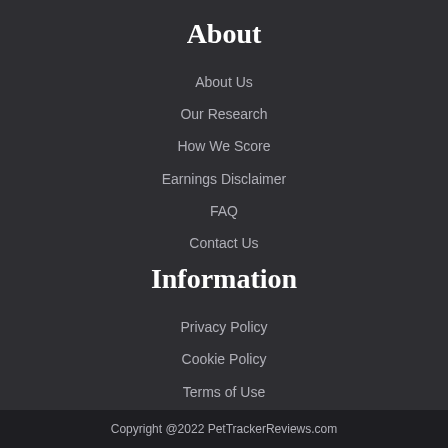About
About Us
Our Research
How We Score
Earnings Disclaimer
FAQ
Contact Us
Information
Privacy Policy
Cookie Policy
Terms of Use
Sitemap
Copyright @2022 PetTrackerReviews.com